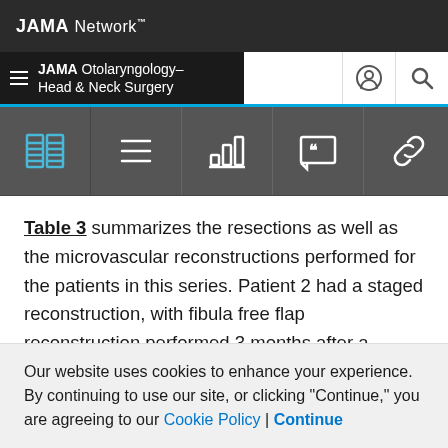JAMA Network
JAMA Otolaryngology–Head & Neck Surgery
[Figure (screenshot): JAMA Network website toolbar with icons: full text, outline, data, cite, share/link]
Table 3 summarizes the resections as well as the microvascular reconstructions performed for the patients in this series. Patient 2 had a staged reconstruction, with fibula free flap reconstruction performed 3 months after a segmental resection (described below in the Case Reports section). Another patient was deemed not to be a candidate for bony free flap at the time of mandibulectomy and underwent reconstruction using a
Our website uses cookies to enhance your experience. By continuing to use our site, or clicking "Continue," you are agreeing to our Cookie Policy | Continue